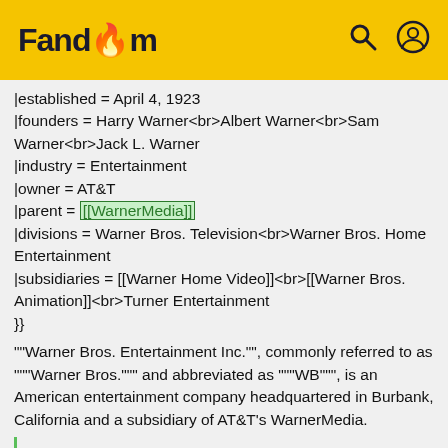Fandom
|established = April 4, 1923
|founders = Harry Warner<br>Albert Warner<br>Sam Warner<br>Jack L. Warner
|industry = Entertainment
|owner = AT&T
|parent = [[WarnerMedia]]
|divisions = Warner Bros. Television<br>Warner Bros. Home Entertainment
|subsidiaries = [[Warner Home Video]]<br>[[Warner Bros. Animation]]<br>Turner Entertainment
}}
""Warner Bros. Entertainment Inc."", commonly referred to as """Warner Bros.""" and abbreviated as """WB""", is an American entertainment company headquartered in Burbank, California and a subsidiary of AT&T's WarnerMedia.
==History==
===Early history===
The company's name originated from the four founding Warner brothers (born Wonskolaser or Wonsal before Anglicization): Harry, Albert, Sam, and Jack